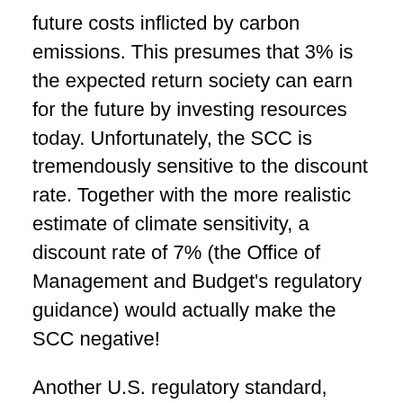future costs inflicted by carbon emissions. This presumes that 3% is the expected return society can earn for the future by investing resources today. Unfortunately, the SCC is tremendously sensitive to the discount rate. Together with the more realistic estimate of climate sensitivity, a discount rate of 7% (the Office of Management and Budget's regulatory guidance) would actually make the SCC negative!
Another U.S. regulatory standard, according to Bailey, is that calculations of social cost are confined to costs borne domestically. However, the SCC attempts to encompass global costs, inflating the estimate by a factor of 4 to 14 times. The justification for the global calculation is apparent righteousness in owning up to the costs we cause as a nation, and also for the example it sets for